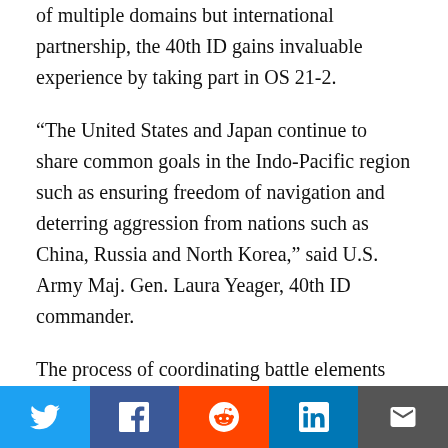of multiple domains but international partnership, the 40th ID gains invaluable experience by taking part in OS 21-2.
“The United States and Japan continue to share common goals in the Indo-Pacific region such as ensuring freedom of navigation and deterring aggression from nations such as China, Russia and North Korea,” said U.S. Army Maj. Gen. Laura Yeager, 40th ID commander.
The process of coordinating battle elements into a joint campaign is a challenging undertaking that tests each military’s potency and rapid employment